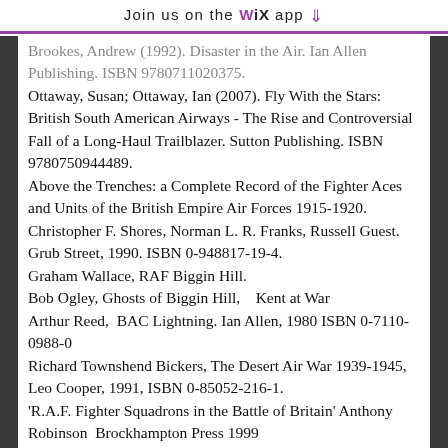Join us on the WiX app ↓
Brookes, Andrew (1992). Disaster in the Air. Ian Allen Publishing. ISBN 9780711020375.
Ottaway, Susan; Ottaway, Ian (2007). Fly With the Stars: British South American Airways - The Rise and Controversial Fall of a Long-Haul Trailblazer. Sutton Publishing. ISBN 9780750944489.
Above the Trenches: a Complete Record of the Fighter Aces and Units of the British Empire Air Forces 1915-1920. Christopher F. Shores, Norman L. R. Franks, Russell Guest. Grub Street, 1990. ISBN 0-948817-19-4.
Graham Wallace, RAF Biggin Hill.
Bob Ogley, Ghosts of Biggin Hill,   Kent at War
Arthur Reed,  BAC Lightning. Ian Allen, 1980 ISBN 0-7110-0988-0
Richard Townshend Bickers, The Desert Air War 1939-1945, Leo Cooper, 1991, ISBN 0-85052-216-1.
'R.A.F. Fighter Squadrons in the Battle of Britain' Anthony Robinson  Brockhampton Press 1999
Alfred price, The Spitfire Story, 2000 Silverdale Books ISBN 1-85605-702-X
Patrick Bishop, Fighter Boys, 2003, ISBN 0-00-2573169-2,
Tony Bartley DFC, [obscured]ils in the Sky,